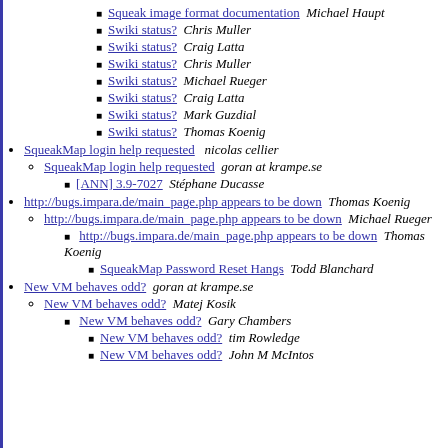Squeak image format documentation  Michael Haupt
Swiki status?  Chris Muller
Swiki status?  Craig Latta
Swiki status?  Chris Muller
Swiki status?  Michael Rueger
Swiki status?  Craig Latta
Swiki status?  Mark Guzdial
Swiki status?  Thomas Koenig
SqueakMap login help requested  nicolas cellier
SqueakMap login help requested  goran at krampe.se
[ANN] 3.9-7027  Stéphane Ducasse
http://bugs.impara.de/main_page.php appears to be down  Thomas Koenig
http://bugs.impara.de/main_page.php appears to be down  Michael Rueger
http://bugs.impara.de/main_page.php appears to be down  Thomas Koenig
SqueakMap Password Reset Hangs  Todd Blanchard
New VM behaves odd?  goran at krampe.se
New VM behaves odd?  Matej Kosik
New VM behaves odd?  Gary Chambers
New VM behaves odd?  tim Rowledge
New VM behaves odd?  John M McIntos